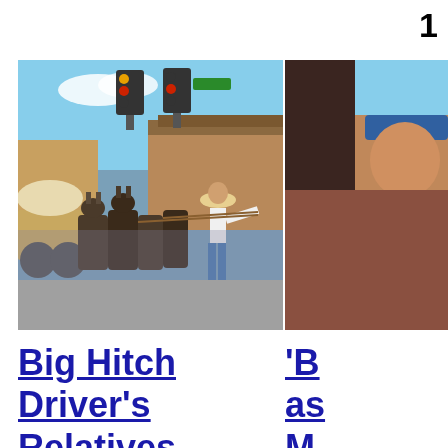1
[Figure (photo): A woman in a cowboy hat and jeans runs alongside a large team of mules pulling a covered wagon through a crowd-lined street with traffic lights visible overhead. Spectators watch from balconies and sidewalks.]
Big Hitch Driver's Relatives Reminisce as Wagon Days
[Figure (photo): Partial view of a person with a blue cap, cropped at the right edge of the page.]
'B as M